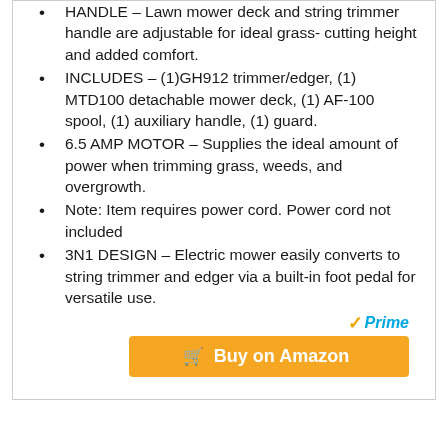HANDLE – Lawn mower deck and string trimmer handle are adjustable for ideal grass- cutting height and added comfort.
INCLUDES – (1)GH912 trimmer/edger, (1) MTD100 detachable mower deck, (1) AF-100 spool, (1) auxiliary handle, (1) guard.
6.5 AMP MOTOR – Supplies the ideal amount of power when trimming grass, weeds, and overgrowth.
Note: Item requires power cord. Power cord not included
3N1 DESIGN – Electric mower easily converts to string trimmer and edger via a built-in foot pedal for versatile use.
[Figure (logo): Amazon Prime logo]
Buy on Amazon